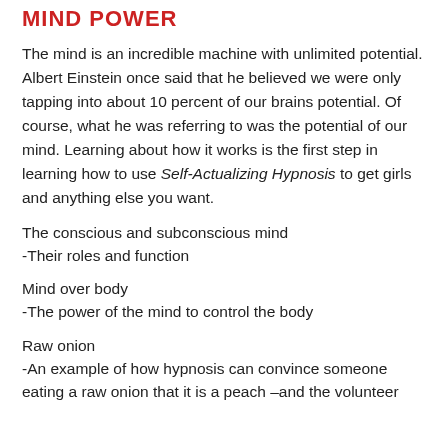MIND POWER
The mind is an incredible machine with unlimited potential. Albert Einstein once said that he believed we were only tapping into about 10 percent of our brains potential. Of course, what he was referring to was the potential of our mind. Learning about how it works is the first step in learning how to use Self-Actualizing Hypnosis to get girls and anything else you want.
The conscious and subconscious mind
-Their roles and function
Mind over body
-The power of the mind to control the body
Raw onion
-An example of how hypnosis can convince someone eating a raw onion that it is a peach –and the volunteer